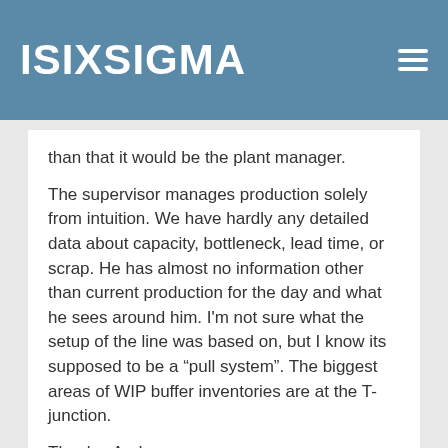ISIXSIGMA
than that it would be the plant manager.
The supervisor manages production solely from intuition.  We have hardly any detailed data about capacity, bottleneck, lead time, or scrap.  He has almost no information other than current production for the day and what he sees around him.  I'm not sure what the setup of the line was based on, but I know its supposed to be a “pull system”.  The biggest areas of WIP buffer inventories are at the T-junction.
Thanks, Andy